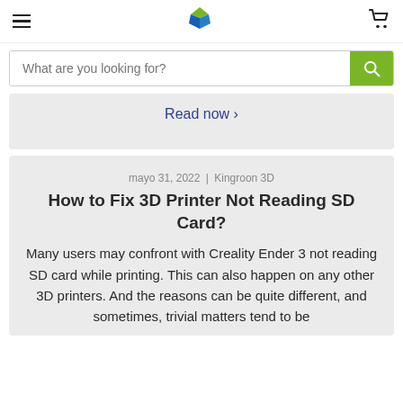Hamburger menu | Logo | Cart
What are you looking for?
Read now ›
mayo 31, 2022 | Kingroon 3D
How to Fix 3D Printer Not Reading SD Card?
Many users may confront with Creality Ender 3 not reading SD card while printing. This can also happen on any other 3D printers. And the reasons can be quite different, and sometimes, trivial matters tend to be